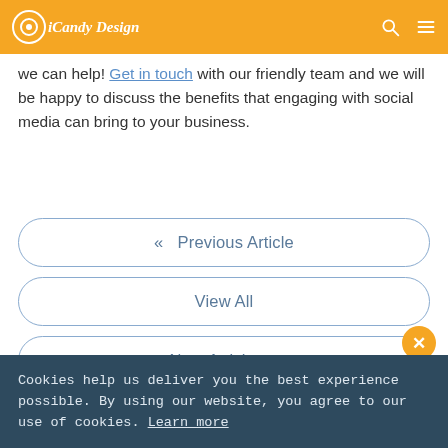iCandy Design
we can help! Get in touch with our friendly team and we will be happy to discuss the benefits that engaging with social media can bring to your business.
« Previous Article
View All
Next Article »
Cookies help us deliver you the best experience possible. By using our website, you agree to our use of cookies. Learn more